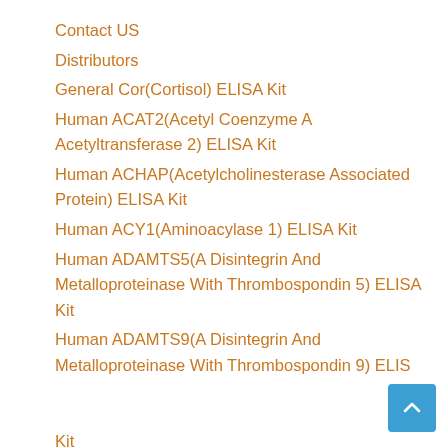Contact US
Distributors
General Cor(Cortisol) ELISA Kit
Human ACAT2(Acetyl Coenzyme A Acetyltransferase 2) ELISA Kit
Human ACHAP(Acetylcholinesterase Associated Protein) ELISA Kit
Human ACY1(Aminoacylase 1) ELISA Kit
Human ADAMTS5(A Disintegrin And Metalloproteinase With Thrombospondin 5) ELISA Kit
Human ADAMTS9(A Disintegrin And Metalloproteinase With Thrombospondin 9) ELISA Kit